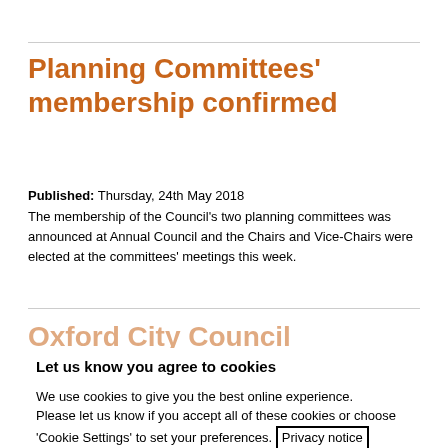Planning Committees' membership confirmed
Published: Thursday, 24th May 2018
The membership of the Council's two planning committees was announced at Annual Council and the Chairs and Vice-Chairs were elected at the committees' meetings this week.
Oxford City Council Executive Board announced
Let us know you agree to cookies
We use cookies to give you the best online experience.
Please let us know if you accept all of these cookies or choose 'Cookie Settings' to set your preferences. Privacy notice
Cookie Settings   ✓ Accept Cookies